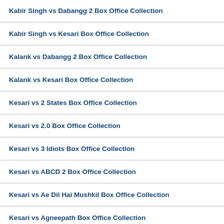Kabir Singh vs Dabangg 2 Box Office Collection
Kabir Singh vs Kesari Box Office Collection
Kalank vs Dabangg 2 Box Office Collection
Kalank vs Kesari Box Office Collection
Kesari vs 2 States Box Office Collection
Kesari vs 2.0 Box Office Collection
Kesari vs 3 Idiots Box Office Collection
Kesari vs ABCD 2 Box Office Collection
Kesari vs Ae Dil Hai Mushkil Box Office Collection
Kesari vs Agneepath Box Office Collection